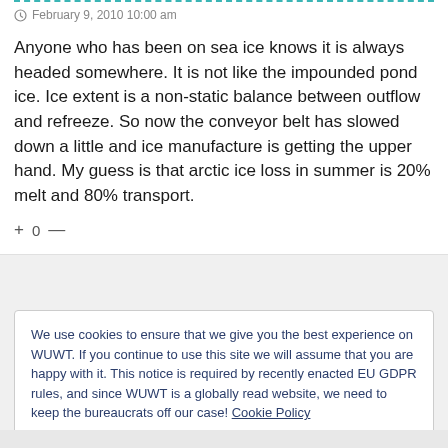February 9, 2010 10:00 am
Anyone who has been on sea ice knows it is always headed somewhere. It is not like the impounded pond ice. Ice extent is a non-static balance between outflow and refreeze. So now the conveyor belt has slowed down a little and ice manufacture is getting the upper hand. My guess is that arctic ice loss in summer is 20% melt and 80% transport.
+ 0 —
We use cookies to ensure that we give you the best experience on WUWT. If you continue to use this site we will assume that you are happy with it. This notice is required by recently enacted EU GDPR rules, and since WUWT is a globally read website, we need to keep the bureaucrats off our case! Cookie Policy
Close and accept